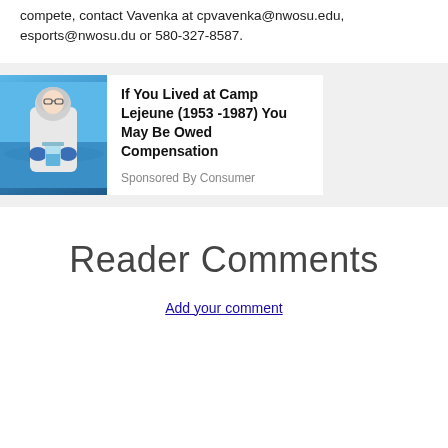compete, contact Vavenka at cpvavenka@nwosu.edu, esports@nwosu.du or 580-327-8587.
[Figure (photo): Person in white lab coat and hairnet holding a beaker near water]
If You Lived at Camp Lejeune (1953 -1987) You May Be Owed Compensation
Sponsored By Consumer
Reader Comments
Add your comment